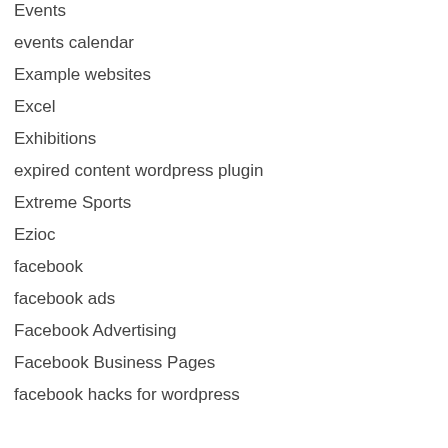Events
events calendar
Example websites
Excel
Exhibitions
expired content wordpress plugin
Extreme Sports
Ezioc
facebook
facebook ads
Facebook Advertising
Facebook Business Pages
facebook hacks for wordpress